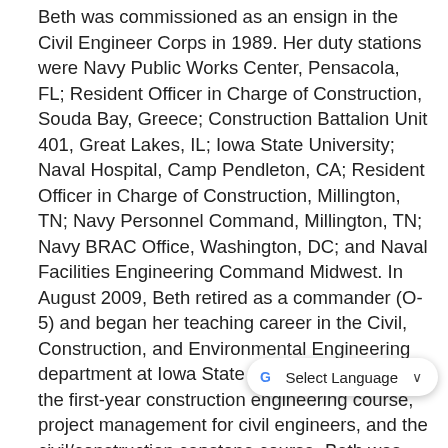Beth was commissioned as an ensign in the Civil Engineer Corps in 1989. Her duty stations were Navy Public Works Center, Pensacola, FL; Resident Officer in Charge of Construction, Souda Bay, Greece; Construction Battalion Unit 401, Great Lakes, IL; Iowa State University; Naval Hospital, Camp Pendleton, CA; Resident Officer in Charge of Construction, Millington, TN; Navy Personnel Command, Millington, TN; Navy BRAC Office, Washington, DC; and Naval Facilities Engineering Command Midwest. In August 2009, Beth retired as a commander (O-5) and began her teaching career in the Civil, Construction, and Environmental Engineering department at Iowa State University. She taught the first-year construction engineering course, project management for civil engineers, and the civil/construction capstone course. Beth was the co-chair of the Veterans and Military Affiliated Advisory Committee at ISU from 2[...] took a brief pause from teaching from summer
[Figure (screenshot): Google Translate 'Select Language' overlay widget appearing in the bottom-right corner of the page]